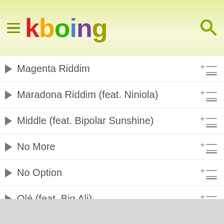kboing
Magenta Riddim
Maradona Riddim (feat. Niniola)
Middle (feat. Bipolar Sunshine)
No More
No Option
Olé (feat. Big Ali)